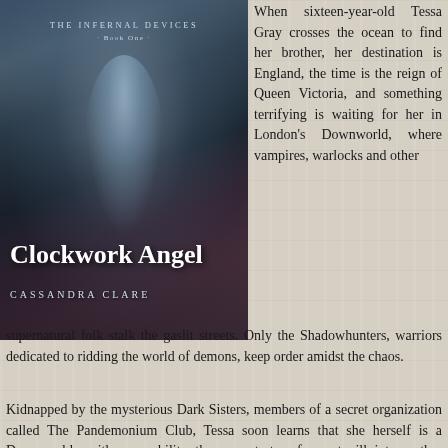[Figure (illustration): Book cover of 'Clockwork Angel' by Cassandra Clare, part of The Infernal Devices series (Book One). Dark fantasy cover featuring a cloaked figure in blue-grey tones against a gothic city background. Title in large white serif font, author name in uppercase below.]
When sixteen-year-old Tessa Gray crosses the ocean to find her brother, her destination is England, the time is the reign of Queen Victoria, and something terrifying is waiting for her in London's Downworld, where vampires, warlocks and other supernatural folk stalk the gaslit streets. Only the Shadowhunters, warriors dedicated to ridding the world of demons, keep order amidst the chaos.
Kidnapped by the mysterious Dark Sisters, members of a secret organization called The Pandemonium Club, Tessa soon learns that she herself is a Downworlder with a rare ability: the power to transform, at will, into another person. What's more, the Magister, the shadowy figure who runs the Club, will stop at nothing to claim Tessa's power for his own.